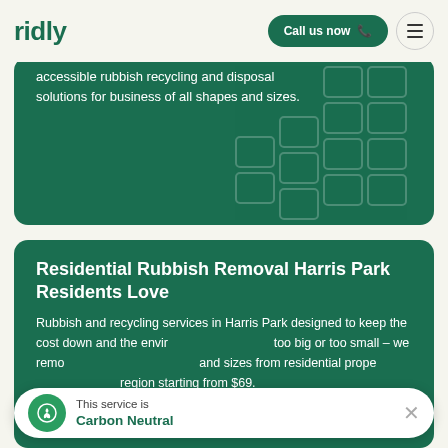ridly
accessible rubbish recycling and disposal solutions for business of all shapes and sizes.
Residential Rubbish Removal Harris Park Residents Love
Rubbish and recycling services in Harris Park designed to keep the cost down and the environment up. No job too big or too small – we remove rubbish of all shapes and sizes from residential properties throughout the region starting from $69.
This service is Carbon Neutral